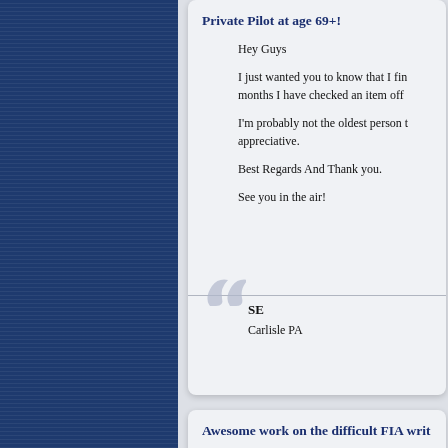Private Pilot at age 69+!
Hey Guys
I just wanted you to know that I fin months I have checked an item off
I'm probably not the oldest person  appreciative.
Best Regards And Thank you.
See you in the air!
SE
Carlisle PA
Awesome work on the difficult FIA writ
I found the explanations in this test This program's feature of using sta that needed more review is a great